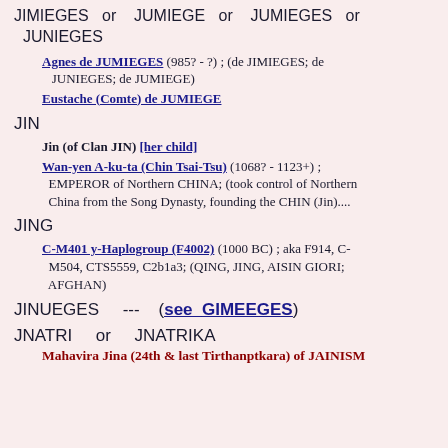JIMIEGES or JUMIEGE or JUMIEGES or JUNIEGES
Agnes de JUMIEGES (985? - ?) ; (de JIMIEGES; de JUNIEGES; de JUMIEGE)
Eustache (Comte) de JUMIEGE
JIN
Jin (of Clan JIN) [her child]
Wan-yen A-ku-ta (Chin Tsai-Tsu) (1068? - 1123+) ; EMPEROR of Northern CHINA; (took control of Northern China from the Song Dynasty, founding the CHIN (Jin)....
JING
C-M401 y-Haplogroup (F4002) (1000 BC) ; aka F914, C-M504, CTS5559, C2b1a3; (QING, JING, AISIN GIORI; AFGHAN)
JINUEGES --- (see GIMEEGES)
JNATRI or JNATRIKA
Mahavira Jina (24th & last Tirthanptkara) of JAINISM